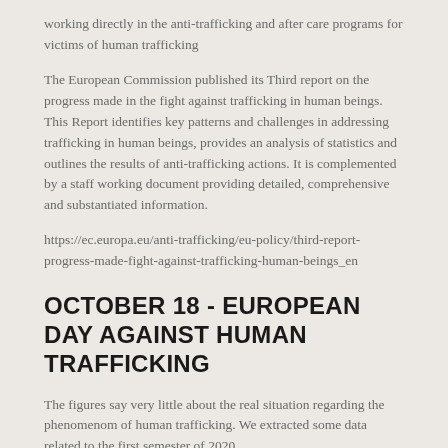working directly in the anti-trafficking and after care programs for victims of human trafficking
The European Commission published its Third report on the progress made in the fight against trafficking in human beings. This Report identifies key patterns and challenges in addressing trafficking in human beings, provides an analysis of statistics and outlines the results of anti-trafficking actions. It is complemented by a staff working document providing detailed, comprehensive and substantiated information.
https://ec.europa.eu/anti-trafficking/eu-policy/third-report-progress-made-fight-against-trafficking-human-beings_en
OCTOBER 18 - EUROPEAN DAY AGAINST HUMAN TRAFFICKING
The figures say very little about the real situation regarding the phenomenom of human trafficking. We extracted some data related to the first semester of 2020.